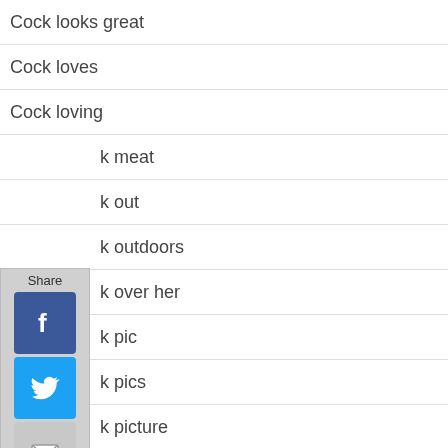Cock looks great
Cock loves
Cock loving
k meat
k out
k outdoors
k over her
k pic
k pics
k picture
Cock pictures